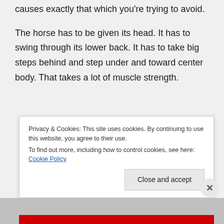causes exactly that which you're trying to avoid.
The horse has to be given its head. It has to swing through its lower back. It has to take big steps behind and step under and toward center body. That takes a lot of muscle strength.
Privacy & Cookies: This site uses cookies. By continuing to use this website, you agree to their use.
To find out more, including how to control cookies, see here: Cookie Policy
Close and accept